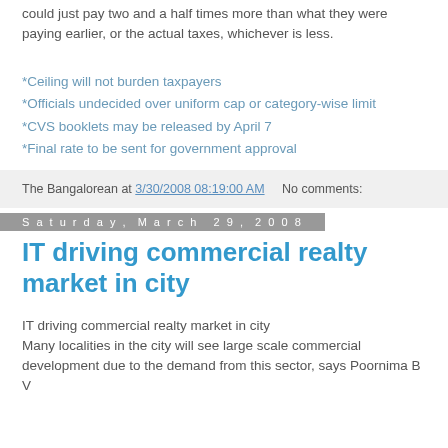could just pay two and a half times more than what they were paying earlier, or the actual taxes, whichever is less.
*Ceiling will not burden taxpayers
*Officials undecided over uniform cap or category-wise limit
*CVS booklets may be released by April 7
*Final rate to be sent for government approval
The Bangalorean at 3/30/2008 08:19:00 AM   No comments:
Saturday, March 29, 2008
IT driving commercial realty market in city
IT driving commercial realty market in city
Many localities in the city will see large scale commercial development due to the demand from this sector, says Poornima B V